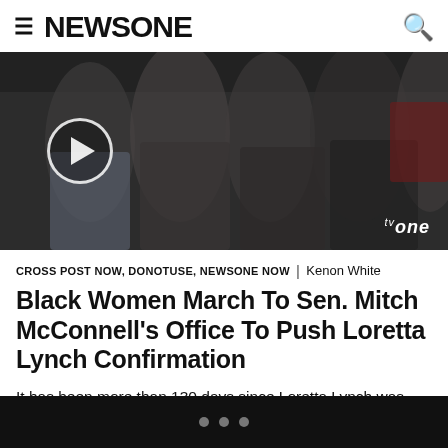≡ NEWSONE 🔍
[Figure (photo): A dark, nighttime photograph of a group of people, with a circular play button overlay on the left side and 'tvone' logo in the lower right corner.]
CROSS POST NOW, DONOTUSE, NEWSONE NOW | Kenon White
Black Women March To Sen. Mitch McConnell's Office To Push Loretta Lynch Confirmation
It has been more than 130 days since Loretta Lynch was nominated by President Barack Obama to become the next United States Attorney General. Sadly, she has yet to be confirmed. Despite having already being confirmed by the Senate on two occasions, Ms. Lynch still faces resistance from Republicans. Sen. Mitch McConnell has said a […]
• • •